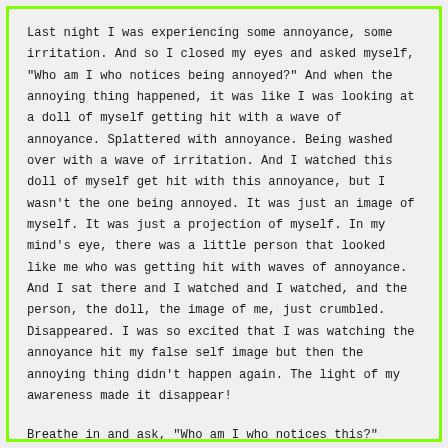Last night I was experiencing some annoyance, some irritation. And so I closed my eyes and asked myself, "Who am I who notices being annoyed?" And when the annoying thing happened, it was like I was looking at a doll of myself getting hit with a wave of annoyance. Splattered with annoyance. Being washed over with a wave of irritation. And I watched this doll of myself get hit with this annoyance, but I wasn't the one being annoyed. It was just an image of myself. It was just a projection of myself. In my mind's eye, there was a little person that looked like me who was getting hit with waves of annoyance. And I sat there and I watched and I watched, and the person, the doll, the image of me, just crumbled. Disappeared. I was so excited that I was watching the annoyance hit my false self image but then the annoying thing didn't happen again. The light of my awareness made it disappear!
Breathe in and ask, "Who am I who notices this?" Breathe